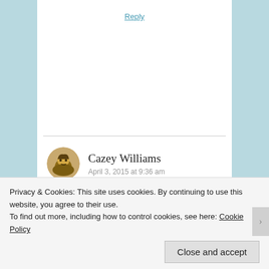Reply
[Figure (photo): Circular avatar photo of Cazey Williams showing a person outdoors]
Cazey Williams
April 3, 2015 at 9:36 am
I'm laughing at your perfect photo accompanying your comment about only reading the captions: “You got that access in that prison.”
Privacy & Cookies: This site uses cookies. By continuing to use this website, you agree to their use.
To find out more, including how to control cookies, see here: Cookie Policy
Close and accept